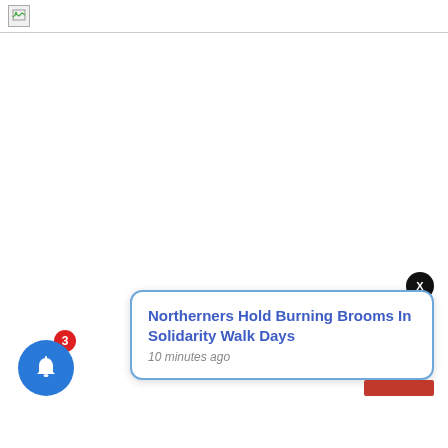[Figure (screenshot): Browser tab bar with a broken image icon in the top-left corner, white background below]
[Figure (screenshot): Notification popup with blue border showing headline 'Northerners Hold Burning Brooms In Solidarity Walk Days' and timestamp '10 minutes ago', with a black X close button, a blue bell icon button with red badge showing 3, and a red bar at bottom right]